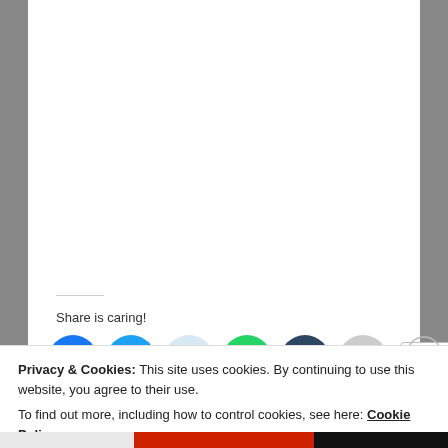Share is caring!
[Figure (other): Social share buttons: Facebook (blue circle), Twitter (blue circle), Reddit (light blue circle), WhatsApp (green circle), Tumblr (dark navy circle), Email (grey circle), and a More button]
Loading...
Privacy & Cookies: This site uses cookies. By continuing to use this website, you agree to their use.
To find out more, including how to control cookies, see here: Cookie Policy
Close and accept